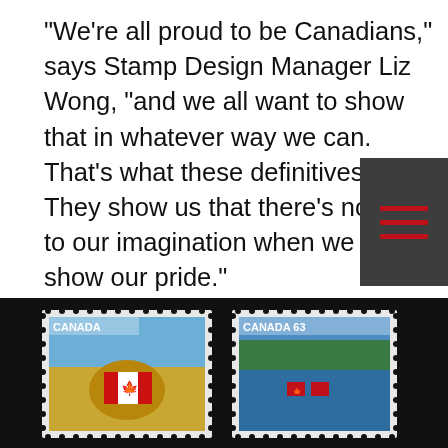“We’re all proud to be Canadians,” says Stamp Design Manager Liz Wong, “and we all want to show that in whatever way we can. That’s what these definitives do. They show us that there’s no limit to our imagination when we want to show our pride.”
[Figure (other): Hamburger menu icon with three horizontal red lines on dark grey background]
Creators
Design/Illustration: Karen Smith Design. Photography: iStockphoto.com.
Similar Stamps
[Figure (photo): Three Canadian postage stamps on black background: a hay bale with Canadian flag design (CANADA), a lake scene with red Muskoka chairs (CANADA 63), and a garden with red and white flowers (CANADA 63)]